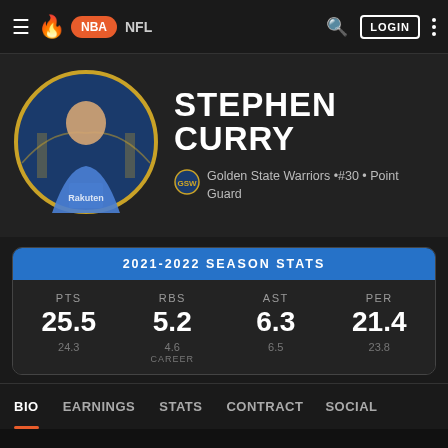≡ 🔥 NBA  NFL  🔍  LOGIN  ⋮
STEPHEN CURRY
Golden State Warriors •#30 • Point Guard
| PTS | RBS | AST | PER |
| --- | --- | --- | --- |
| 25.5 | 5.2 | 6.3 | 21.4 |
| 24.3 | 4.6 | 6.5 | 23.8 |
2021-2022 SEASON STATS
CAREER (below stats)
BIO  EARNINGS  STATS  CONTRACT  SOCIAL